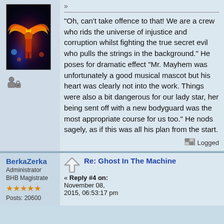[Figure (illustration): Avatar image showing a fantasy figure with wings surrounded by flames and colorful lights against a dark background]
[Figure (illustration): Small user/profile icon]
"Oh, can't take offence to that! We are a crew who rids the universe of injustice and corruption whilst fighting the true secret evil who pulls the strings in the background." He poses for dramatic effect "Mr. Mayhem was unfortunately a good musical mascot but his heart was clearly not into the work. Things were also a bit dangerous for our lady star, her being sent off with a new bodyguard was the most appropriate course for us too." He nods sagely, as if this was all his plan from the start.
Logged
BerkaZerka
Administrator
BHB Magistrate
Posts: 20600
Re: Ghost In The Machine
« Reply #4 on:
November 08, 2015, 06:53:17 pm